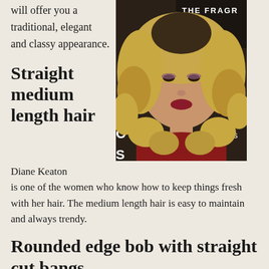will offer you a traditional, elegant and classy appearance.
[Figure (photo): Woman with blonde curly medium-length hair, wearing red, at an event with 'THE FRAGR' text visible on backdrop]
Straight medium length hair
Diane Keaton is one of the women who know how to keep things fresh with her hair. The medium length hair is easy to maintain and always trendy.
Rounded edge bob with straight cut bangs